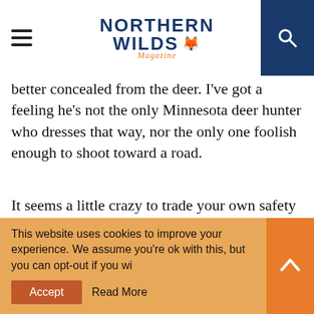Northern Wilds Magazine
better concealed from the deer. I've got a feeling he's not the only Minnesota deer hunter who dresses that way, nor the only one foolish enough to shoot toward a road.
It seems a little crazy to trade your own safety by taking off your hunter orange in a dubious attempt to up your odds at killing a deer. Then again, the basics of hunter safety seem to have taken backseat to other priorities these days. Consider, for instance, the recent surge in popularity of ground blinds.
This website uses cookies to improve your experience. We assume you're ok with this, but you can opt-out if you wish.